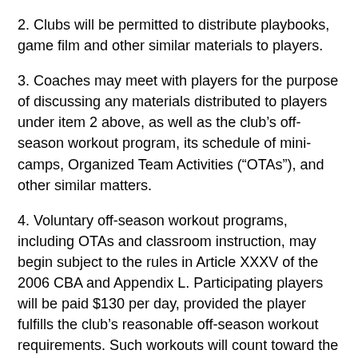2. Clubs will be permitted to distribute playbooks, game film and other similar materials to players.
3. Coaches may meet with players for the purpose of discussing any materials distributed to players under item 2 above, as well as the club’s off-season workout program, its schedule of mini-camps, Organized Team Activities (“OTAs”), and other similar matters.
4. Voluntary off-season workout programs, including OTAs and classroom instruction, may begin subject to the rules in Article XXXV of the 2006 CBA and Appendix L. Participating players will be paid $130 per day, provided the player fulfills the club’s reasonable off-season workout requirements. Such workouts will count toward the requirements of any off-season workout bonus in the player’s contract.